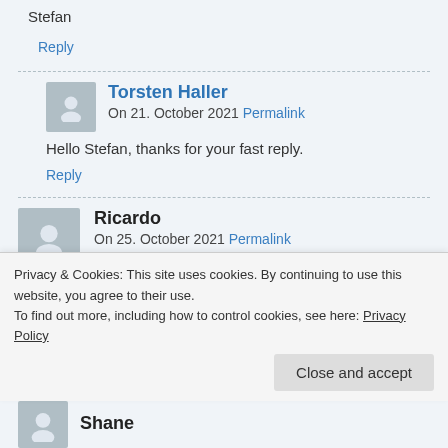Stefan
Reply
Torsten Haller
On 21. October 2021 Permalink
Hello Stefan, thanks for your fast reply.
Reply
Ricardo
On 25. October 2021 Permalink
After installing the SharePoint 2019 CU October we miss
Privacy & Cookies: This site uses cookies. By continuing to use this website, you agree to their use.
To find out more, including how to control cookies, see here: Privacy Policy
Close and accept
Shane